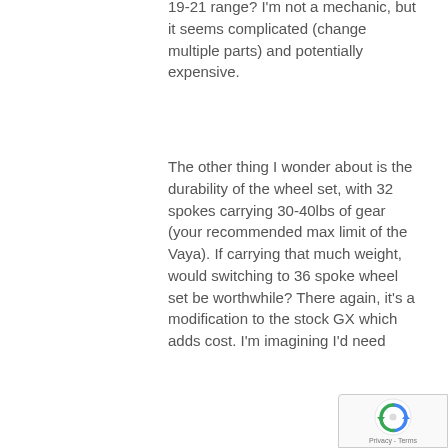19-21 range? I'm not a mechanic, but it seems complicated (change multiple parts) and potentially expensive.
The other thing I wonder about is the durability of the wheel set, with 32 spokes carrying 30-40lbs of gear (your recommended max limit of the Vaya). If carrying that much weight, would switching to 36 spoke wheel set be worthwhile? There again, it's a modification to the stock GX which adds cost. I'm imagining I'd need
[Figure (logo): reCAPTCHA badge with Google logo and Privacy - Terms text]